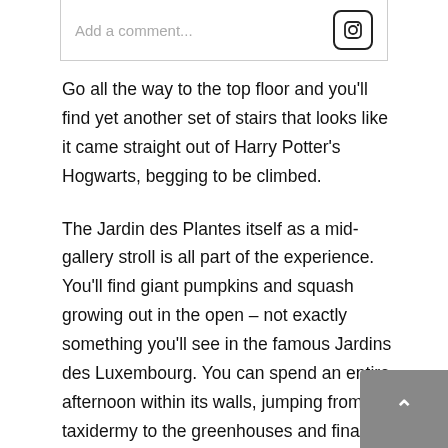[Figure (screenshot): Social media comment input box with 'Add a comment...' placeholder text and an Instagram camera icon on the right]
Go all the way to the top floor and you'll find yet another set of stairs that looks like it came straight out of Harry Potter's Hogwarts, begging to be climbed.
The Jardin des Plantes itself as a mid-gallery stroll is all part of the experience. You'll find giant pumpkins and squash growing out in the open – not exactly something you'll see in the famous Jardins des Luxembourg. You can spend an entire afternoon within its walls, jumping from the taxidermy to the greenhouses and finally to the paleontology gallery. This might sound more suited for a science class